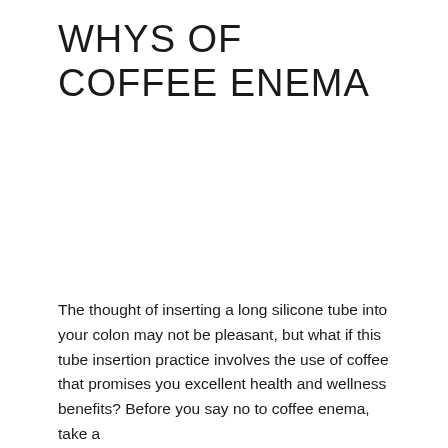WHYS OF COFFEE ENEMA
The thought of inserting a long silicone tube into your colon may not be pleasant, but what if this tube insertion practice involves the use of coffee that promises you excellent health and wellness benefits? Before you say no to coffee enema, take a